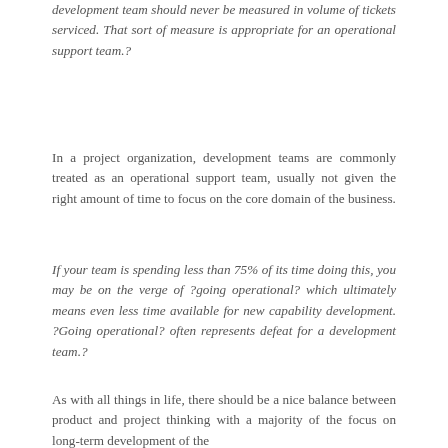development team should never be measured in volume of tickets serviced. That sort of measure is appropriate for an operational support team.?
In a project organization, development teams are commonly treated as an operational support team, usually not given the right amount of time to focus on the core domain of the business.
If your team is spending less than 75% of its time doing this, you may be on the verge of ?going operational? which ultimately means even less time available for new capability development. ?Going operational? often represents defeat for a development team.?
As with all things in life, there should be a nice balance between product and project thinking with a majority of the focus on long-term development of the